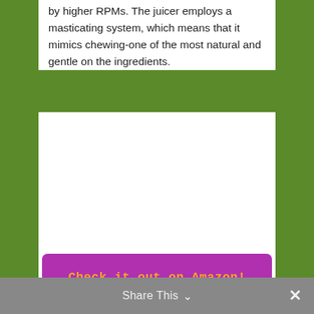by higher RPMs. The juicer employs a masticating system, which means that it mimics chewing-one of the most natural and gentle on the ingredients.
This juicer is quiet while operating, just like its sister models. On that note, the only difference between the Omega J8004 and the Omega J8006 is its color. The '04 is plain white, whereas the '06 comes in Chrome. That being said, they are both made of plastic- the difference is entirely cosmetic- although it also affects the price tag- the chrome-colored model is a solid 40 dollars more expensive.
[Figure (other): Purple button with orange monospace text reading 'Check it out on Amazon!']
Share This ∨  ✕